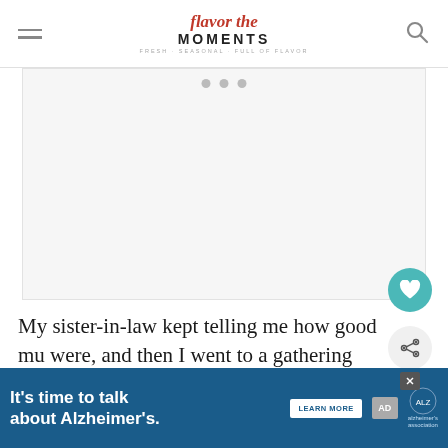flavor the MOMENTS
[Figure (photo): Large white/blank image area with social share icons]
My sister-in-law kept telling me how good mu were, and then I went to a gathering where a friend was making them and I had a s... It was amazing. Then she went and bought me a ... d, and
[Figure (infographic): WHAT'S NEXT widget showing Spicy Chorizo Chili Recipe with a bowl image]
[Figure (infographic): Advertisement banner: It's time to talk about Alzheimer's. LEARN MORE. Alzheimer's Association.]